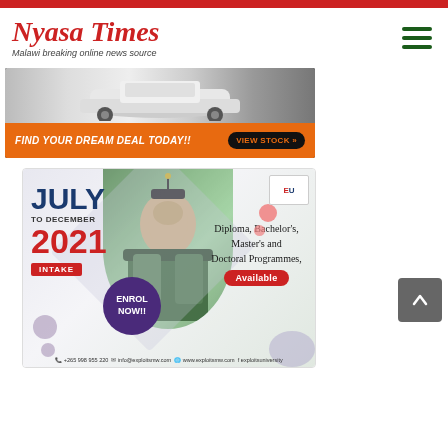[Figure (logo): Nyasa Times logo with tagline: Malawi breaking online news source]
[Figure (infographic): Car dealership advertisement banner: FIND YOUR DREAM DEAL TODAY!! with VIEW STOCK button, orange background]
[Figure (infographic): Exploits University advertisement: July to December 2021 Intake, Enrol Now, Diploma, Bachelor's, Master's and Doctoral Programmes Available. Contact: +265 998 955 220, info@exploitsmw.com, www.exploitsmw.com, exploitsuniversity]